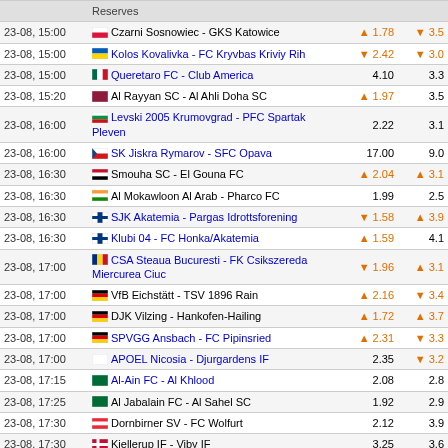| Time | Match | Odds1 | Odds2 |
| --- | --- | --- | --- |
|  | Reserves |  |  |
| 23-08, 15:00 | Czarni Sosnowiec - GKS Katowice | ↑1.78 | ↓3.5x |
| 23-08, 15:00 | Kolos Kovalivka - FC Kryvbas Kriviy Rih | ↓2.42 | ↓3.0x |
| 23-08, 15:00 | Queretaro FC - Club America | 4.10 | 3.3x |
| 23-08, 15:20 | Al Rayyan SC - Al Ahli Doha SC | ↑1.97 | 3.5x |
| 23-08, 16:00 | Levski 2005 Krumovgrad - PFC Spartak Pleven | 2.22 | 3.1x |
| 23-08, 16:00 | SK Jiskra Rymarov - SFC Opava | 17.00 | 9.0x |
| 23-08, 16:30 | Smouha SC - El Gouna FC | ↑2.04 | ↑3.1x |
| 23-08, 16:30 | Al Mokawloon Al Arab - Pharco FC | 1.99 | 2.5x |
| 23-08, 16:30 | SJK Akatemia - Pargas Idrottsforening | ↓1.58 | ↑3.9x |
| 23-08, 16:30 | Klubi 04 - FC Honka/Akatemia | ↑1.59 | 4.1x |
| 23-08, 17:00 | CSA Steaua Bucuresti - FK Csikszereda Miercurea Ciuc | ↓1.96 | ↑3.1x |
| 23-08, 17:00 | VfB Eichstätt - TSV 1896 Rain | ↑2.16 | ↓3.4x |
| 23-08, 17:00 | DJK Vilzing - Hankofen-Hailing | ↑1.72 | ↑3.7x |
| 23-08, 17:00 | SPVGG Ansbach - FC Pipinsried | ↑2.31 | ↓3.3x |
| 23-08, 17:00 | APOEL Nicosia - Djurgardens IF | 2.35 | ↓3.2x |
| 23-08, 17:15 | Al-Ain FC - Al Khlood | 2.08 | 2.8x |
| 23-08, 17:25 | Al Jabalain FC - Al Sahel SC | 1.92 | 2.9x |
| 23-08, 17:30 | Dornbirner SV - FC Wolfurt | 2.12 | 3.9x |
| 23-08, 17:30 | Kjellerup IF - Viby IF | 3.25 | 3.6x |
| 23-08, 17:30 | Turkgucu Ataspor Munchen - 1. FC Nürnberg II | 1.95 | 3.5x |